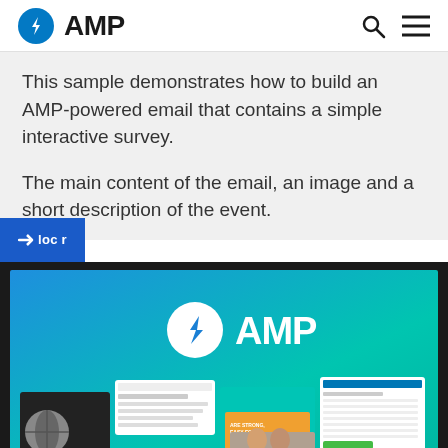AMP
This sample demonstrates how to build an AMP-powered email that contains a simple interactive survey.
The main content of the email, an image and a short description of the event.
[Figure (screenshot): AMP promotional screenshot showing the AMP logo with lightning bolt on a blue-to-teal gradient background, with various app/web content examples shown in the lower portion]